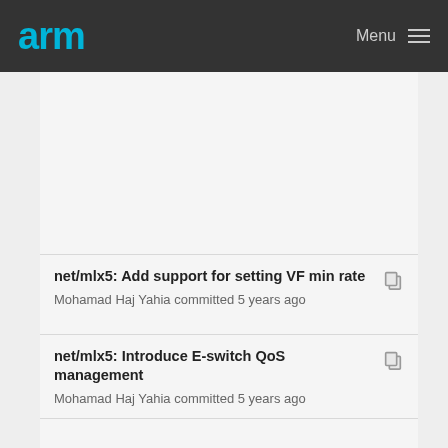arm Menu
net/mlx5: Add support for setting VF min rate
Mohamad Haj Yahia committed 5 years ago
net/mlx5: Introduce E-switch QoS management
Mohamad Haj Yahia committed 5 years ago